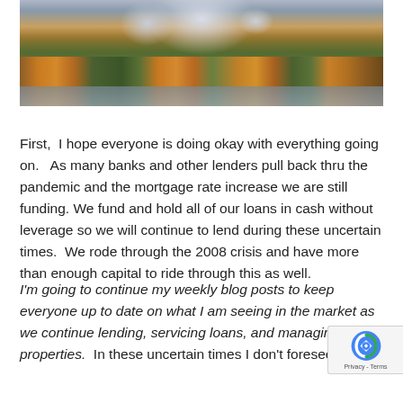[Figure (photo): Landscape photo of mountain peaks with autumn foliage (orange and yellow trees) reflected in a lake below, with snow-capped rocky peaks in the background]
First,  I hope everyone is doing okay with everything going on.   As many banks and other lenders pull back thru the pandemic and the mortgage rate increase we are still funding. We fund and hold all of our loans in cash without leverage so we will continue to lend during these uncertain times.  We rode through the 2008 crisis and have more than enough capital to ride through this as well.
I'm going to continue my weekly blog posts to keep everyone up to date on what I am seeing in the market as we continue lending, servicing loans, and managing properties.  In these uncertain times I don't foresee th[e prices] falling and we will continue doing what we do best providing...